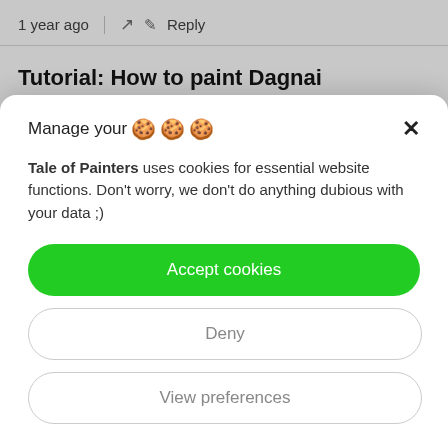1 year ago  |  ↗  ✎  Reply
Tutorial: How to paint Dagnai Holdenstock
Manage your 🍪🍪🍪
Tale of Painters uses cookies for essential website functions. Don't worry, we don't do anything dubious with your data ;)
Accept cookies
Deny
View preferences